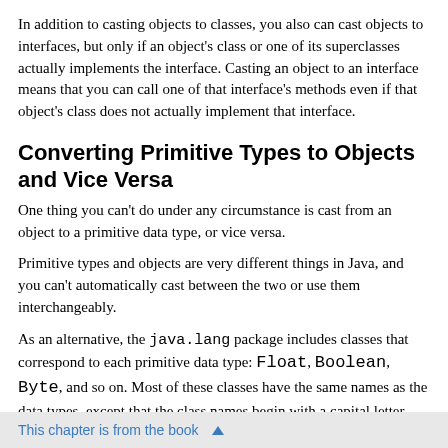In addition to casting objects to classes, you also can cast objects to interfaces, but only if an object's class or one of its superclasses actually implements the interface. Casting an object to an interface means that you can call one of that interface's methods even if that object's class does not actually implement that interface.
Converting Primitive Types to Objects and Vice Versa
One thing you can't do under any circumstance is cast from an object to a primitive data type, or vice versa.
Primitive types and objects are very different things in Java, and you can't automatically cast between the two or use them interchangeably.
As an alternative, the java.lang package includes classes that correspond to each primitive data type: Float, Boolean, Byte, and so on. Most of these classes have the same names as the data types, except that the class names begin with a capital letter (Short instead of short, Double instead of double,
This chapter is from the book